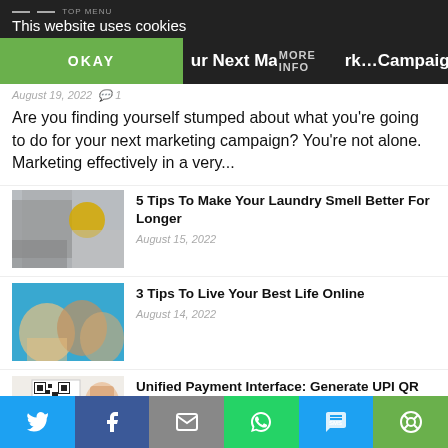TOP MENU | This website uses cookies
OKAY | ur Next Marketing Campaign | MORE INFO
August 19, 2022  🗨 1
Are you finding yourself stumped about what you're going to do for your next marketing campaign? You're not alone. Marketing effectively in a very...
[Figure (photo): Woman in yellow top at a laundromat with washing machines]
5 Tips To Make Your Laundry Smell Better For Longer
August 15, 2022
[Figure (photo): Three young women taking a selfie and laughing]
3 Tips To Live Your Best Life Online
August 14, 2022
[Figure (photo): Hand holding phone showing a QR code]
Unified Payment Interface: Generate UPI QR Code In 5 Simple Steps
Twitter | Facebook | Email | WhatsApp | SMS | Share